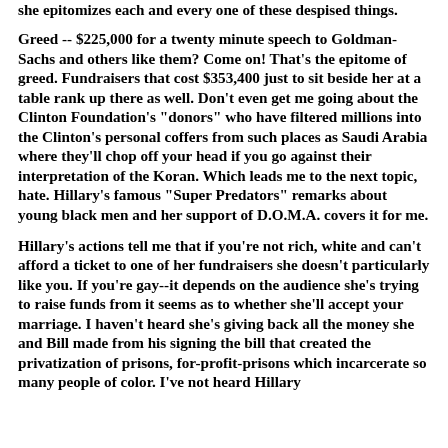she epitomizes each and every one of these despised things.
Greed -- $225,000 for a twenty minute speech to Goldman-Sachs and others like them? Come on! That’s the epitome of greed. Fundraisers that cost $353,400 just to sit beside her at a table rank up there as well. Don’t even get me going about the Clinton Foundation’s “donors” who have filtered millions into the Clinton’s personal coffers from such places as Saudi Arabia where they’ll chop off your head if you go against their interpretation of the Koran. Which leads me to the next topic, hate. Hillary’s famous “Super Predators” remarks about young black men and her support of D.O.M.A. covers it for me.
Hillary’s actions tell me that if you’re not rich, white and can’t afford a ticket to one of her fundraisers she doesn’t particularly like you. If you’re gay--it depends on the audience she’s trying to raise funds from it seems as to whether she’ll accept your marriage. I haven’t heard she’s giving back all the money she and Bill made from his signing the bill that created the privatization of prisons, for-profit-prisons which incarcerate so many people of color. I’ve not heard Hillary making atonement for this injustice, their follow she...